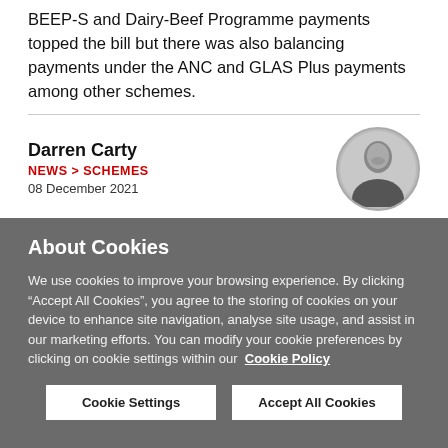BEEP-S and Dairy-Beef Programme payments topped the bill but there was also balancing payments under the ANC and GLAS Plus payments among other schemes.
Darren Carty
NEWS > SCHEMES
08 December 2021
[Figure (photo): Circular black and white headshot photo of Darren Carty, a man in a dark shirt smiling]
About Cookies
We use cookies to improve your browsing experience. By clicking “Accept All Cookies”, you agree to the storing of cookies on your device to enhance site navigation, analyse site usage, and assist in our marketing efforts. You can modify your cookie preferences by clicking on cookie settings within our  Cookie Policy
Cookie Settings
Accept All Cookies